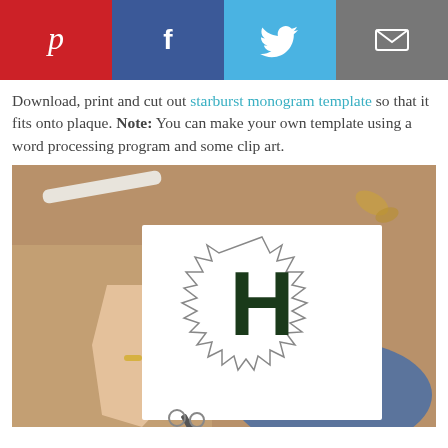[Figure (infographic): Social media sharing bar with Pinterest (red), Facebook (dark blue), Twitter (light blue), and Email (gray) buttons]
Download, print and cut out starburst monogram template so that it fits onto plaque. Note: You can make your own template using a word processing program and some clip art.
[Figure (photo): A hand holding a white paper with a starburst/sunburst monogram template featuring the letter H printed in dark green/black, being cut with scissors. Background shows a craft workspace with cardboard, blue object, and scattered hardware.]